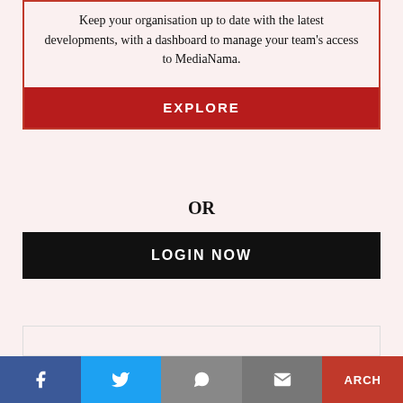Keep your organisation up to date with the latest developments, with a dashboard to manage your team's access to MediaNama.
EXPLORE
OR
LOGIN NOW
[Figure (other): Social share bar with Facebook, Twitter, WhatsApp, Email icons and Search button]